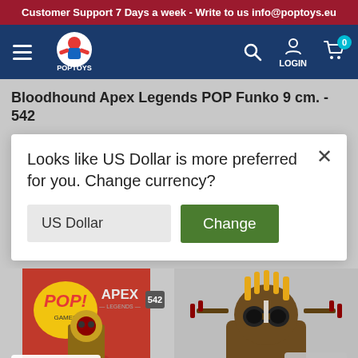Customer Support 7 Days a week - Write to us info@poptoys.eu
[Figure (logo): PopToys website header with logo, hamburger menu, search icon, login icon, and cart icon with 0 badge]
Bloodhound Apex Legends POP Funko 9 cm. - 542
Looks like US Dollar is more preferred for you. Change currency?
[Figure (screenshot): Product image showing Bloodhound Apex Legends Funko POP #542 in box (left) and figure close-up (right). Bottom left shows English language selector with UK flag. Bottom right shows GBP currency selector.]